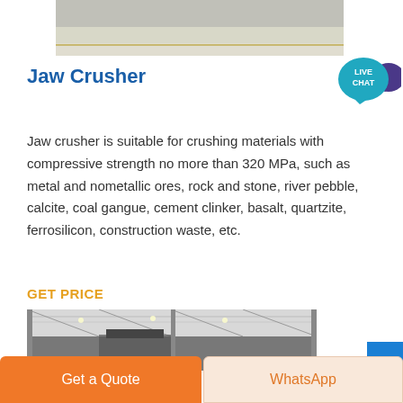[Figure (photo): Top partial photo of industrial facility floor, partially visible]
Jaw Crusher
[Figure (other): Live Chat speech bubble badge with teal/purple colors]
Jaw crusher is suitable for crushing materials with compressive strength no more than 320 MPa, such as metal and nometallic ores, rock and stone, river pebble, calcite, coal gangue, cement clinker, basalt, quartzite, ferrosilicon, construction waste, etc.
GET PRICE
[Figure (photo): Interior of large industrial warehouse or factory building with steel framework]
Get a Quote
WhatsApp